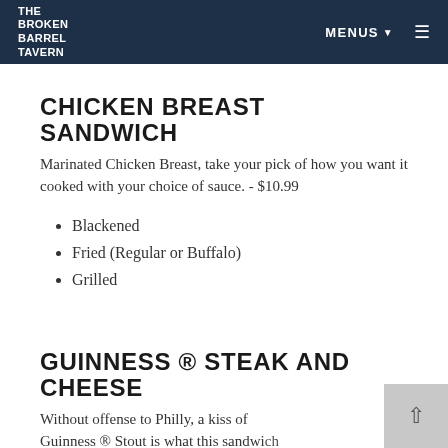THE BROKEN BARREL TAVERN | MENUS
CHICKEN BREAST SANDWICH
Marinated Chicken Breast, take your pick of how you want it cooked with your choice of sauce. - $10.99
Blackened
Fried (Regular or Buffalo)
Grilled
GUINNESS ® STEAK AND CHEESE
Without offense to Philly, a kiss of Guinness ® Stout is what this sandwich